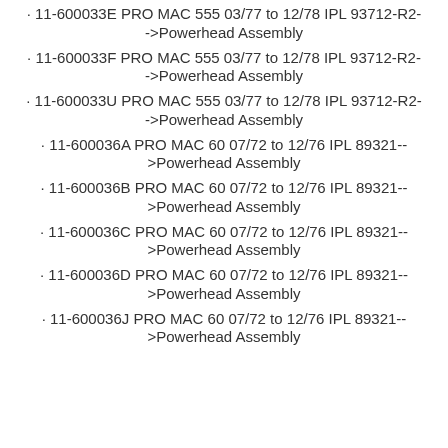· 11-600033E PRO MAC 555 03/77 to 12/78 IPL 93712-R2--
->Powerhead Assembly
· 11-600033F PRO MAC 555 03/77 to 12/78 IPL 93712-R2--
->Powerhead Assembly
· 11-600033U PRO MAC 555 03/77 to 12/78 IPL 93712-R2--
->Powerhead Assembly
· 11-600036A PRO MAC 60 07/72 to 12/76 IPL 89321--
>Powerhead Assembly
· 11-600036B PRO MAC 60 07/72 to 12/76 IPL 89321--
>Powerhead Assembly
· 11-600036C PRO MAC 60 07/72 to 12/76 IPL 89321--
>Powerhead Assembly
· 11-600036D PRO MAC 60 07/72 to 12/76 IPL 89321--
>Powerhead Assembly
· 11-600036J PRO MAC 60 07/72 to 12/76 IPL 89321--
>Powerhead Assembly